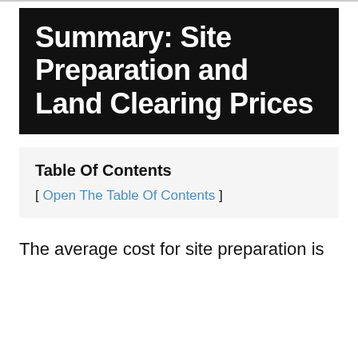Summary: Site Preparation and Land Clearing Prices
Table Of Contents
[ Open The Table Of Contents ]
The average cost for site preparation is